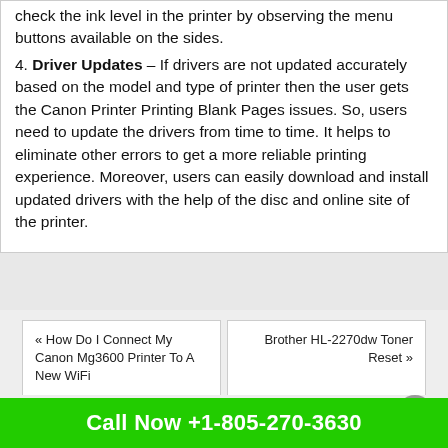check the ink level in the printer by observing the menu buttons available on the sides.
4. Driver Updates – If drivers are not updated accurately based on the model and type of printer then the user gets the Canon Printer Printing Blank Pages issues. So, users need to update the drivers from time to time. It helps to eliminate other errors to get a more reliable printing experience. Moreover, users can easily download and install updated drivers with the help of the disc and online site of the printer.
« How Do I Connect My Canon Mg3600 Printer To A New WiFi
Brother HL-2270dw Toner Reset »
Tags: canon printer
Call Now +1-805-270-3630